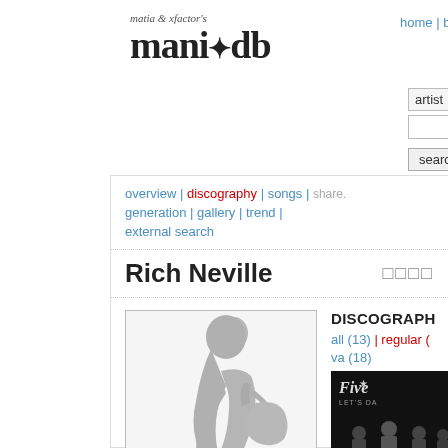[Figure (logo): maniadb logo with 'matia & xfactor's' tagline above]
home | browse | plugin | api    login
overview | discography | songs | share: facebook Tweet
generation | gallery | trend |
external search
Rich Neville
[Figure (illustration): Silhouette of a guitarist leaning forward playing guitar, gray on white background]
DISCOGRAPHY
all (13) | regular (0) va (18)
[Figure (photo): Album cover showing 'Five - Let's Dance' with three men in dark lighting]